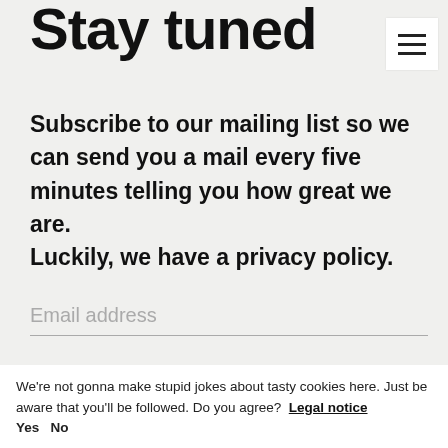Stay tuned
Subscribe to our mailing list so we can send you a mail every five minutes telling you how great we are. Luckily, we have a privacy policy.
Email address
subscribe
We're not gonna make stupid jokes about tasty cookies here. Just be aware that you'll be followed. Do you agree? Legal notice Yes No